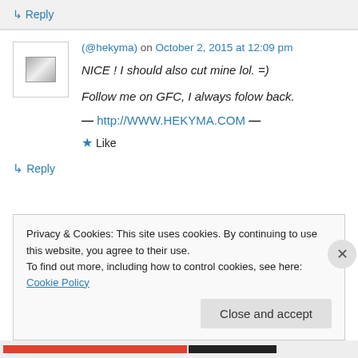↳ Reply
(@hekyma) on October 2, 2015 at 12:09 pm
NICE ! I should also cut mine lol. =)
Follow me on GFC, I always folow back.
— http://WWW.HEKYMA.COM —
★ Like
↳ Reply
Privacy & Cookies: This site uses cookies. By continuing to use this website, you agree to their use. To find out more, including how to control cookies, see here: Cookie Policy
Close and accept